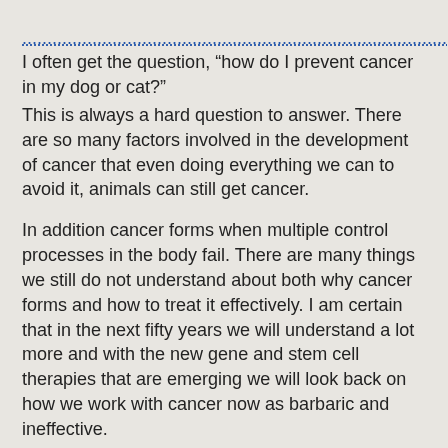I often get the question, “how do I prevent cancer in my dog or cat?”
This is always a hard question to answer. There are so many factors involved in the development of cancer that even doing everything we can to avoid it, animals can still get cancer.
In addition cancer forms when multiple control processes in the body fail. There are many things we still do not understand about both why cancer forms and how to treat it effectively. I am certain that in the next fifty years we will understand a lot more and with the new gene and stem cell therapies that are emerging we will look back on how we work with cancer now as barbaric and ineffective.
Cancer is a breakdown of the immune system and the